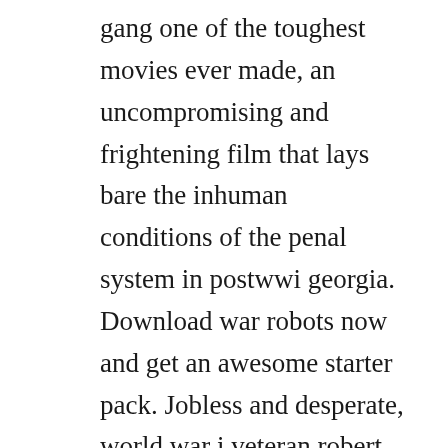gang one of the toughest movies ever made, an uncompromising and frightening film that lays bare the inhuman conditions of the penal system in postwwi georgia. Download war robots now and get an awesome starter pack. Jobless and desperate, world war i veteran robert eliot burns val kilmer is arrested for theft and sentenced to work on a prison chain gang. After a long hiatus, were back, and were talking about the man who broke 1,000 chains, a madefortv movie about a man who quite literally does not break a single chain. Our hero tries to back out, but then is forced